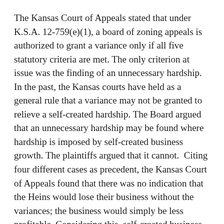The Kansas Court of Appeals stated that under K.S.A. 12-759(e)(1), a board of zoning appeals is authorized to grant a variance only if all five statutory criteria are met. The only criterion at issue was the finding of an unnecessary hardship. In the past, the Kansas courts have held as a general rule that a variance may not be granted to relieve a self-created hardship. The Board argued that an unnecessary hardship may be found where hardship is imposed by self-created business growth. The plaintiffs argued that it cannot.  Citing four different cases as precedent, the Kansas Court of Appeals found that there was no indication that the Heins would lose their business without the variances; the business would simply be less profitable. Considering this, self-created business growth is not an exception to the general rule that an unnecessary hardship may not be self-created.
The Kansas Court of Appeals concluded that the district court rightly found that the Board acted outside its scope of